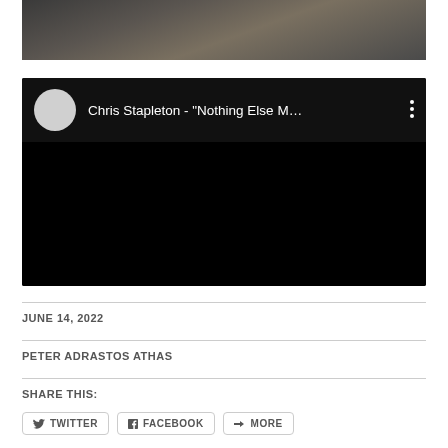[Figure (photo): Partial view of a person playing guitar, dark background, cropped image at top of page]
[Figure (screenshot): Embedded YouTube video player (black screen) with channel avatar, title 'Chris Stapleton - "Nothing Else M...' and a three-dot menu icon]
JUNE 14, 2022
PETER ADRASTOS ATHAS
SHARE THIS:
TWITTER   FACEBOOK   MORE